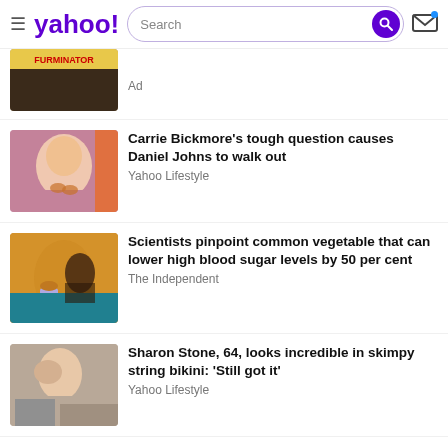yahoo! [Search] [mail]
Ad
Carrie Bickmore's tough question causes Daniel Johns to walk out
Yahoo Lifestyle
Scientists pinpoint common vegetable that can lower high blood sugar levels by 50 per cent
The Independent
Sharon Stone, 64, looks incredible in skimpy string bikini: 'Still got it'
Yahoo Lifestyle